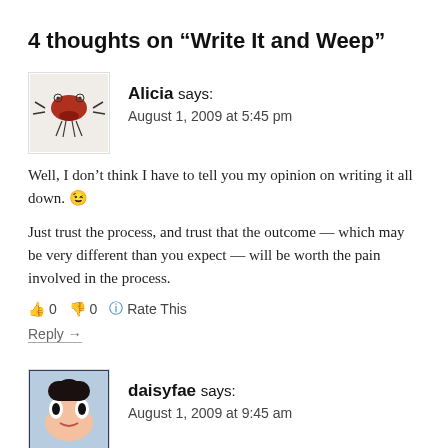4 thoughts on “Write It and Weep”
Alicia says: August 1, 2009 at 5:45 pm
Well, I don’t think I have to tell you my opinion on writing it all down. 😉
Just trust the process, and trust that the outcome — which may be very different than you expect — will be worth the pain involved in the process.
👍 0 👎 0 ℹ Rate This
Reply →
daisyfae says: August 1, 2009 at 9:45 am